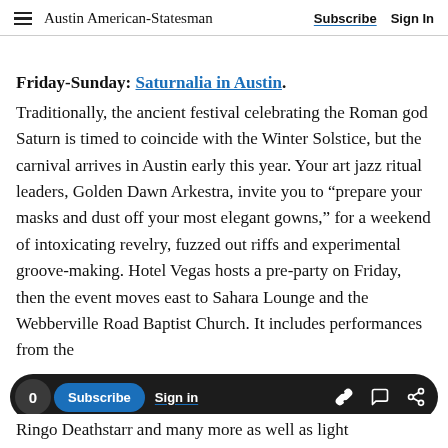Austin American-Statesman | Subscribe  Sign In
Friday-Sunday: Saturnalia in Austin.
Traditionally, the ancient festival celebrating the Roman god Saturn is timed to coincide with the Winter Solstice, but the carnival arrives in Austin early this year. Your art jazz ritual leaders, Golden Dawn Arkestra, invite you to “prepare your masks and dust off your most elegant gowns,” for a weekend of intoxicating revelry, fuzzed out riffs and experimental groove-making. Hotel Vegas hosts a pre-party on Friday, then the event moves east to Sahara Lounge and the Webberville Road Baptist Church. It includes performances from the
Ringo Deathstarr and many more as well as light